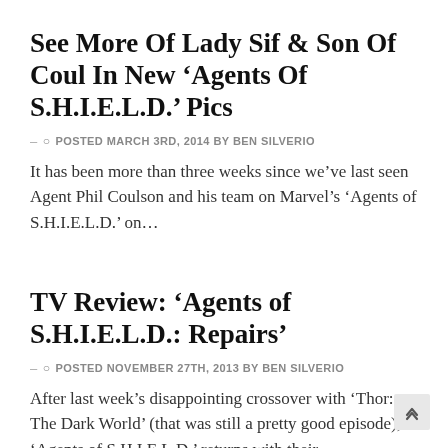See More Of Lady Sif & Son Of Coul In New ‘Agents Of S.H.I.E.L.D.’ Pics
–  ○ POSTED MARCH 3RD, 2014 BY BEN SILVERIO
It has been more than three weeks since we’ve last seen Agent Phil Coulson and his team on Marvel’s ‘Agents of S.H.I.E.L.D.’ on…
TV Review: ‘Agents of S.H.I.E.L.D.: Repairs’
–  ○ POSTED NOVEMBER 27TH, 2013 BY BEN SILVERIO
After last week’s disappointing crossover with ‘Thor: The Dark World’ (that was still a pretty good episode), ‘Agents of S.H.I.E.L.D.’ returns with their…